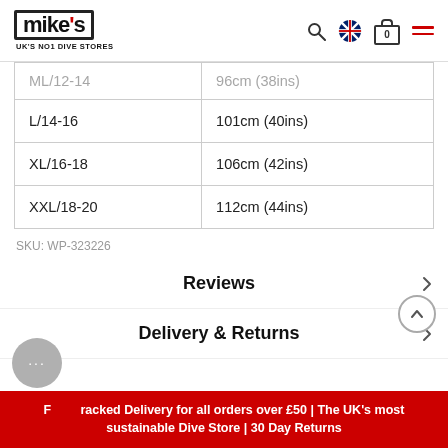mike's UK'S NO1 DIVE STORES
| ML/12-14 | 96cm (38ins) |
| L/14-16 | 101cm (40ins) |
| XL/16-18 | 106cm (42ins) |
| XXL/18-20 | 112cm (44ins) |
SKU: WP-323226
Reviews
Delivery & Returns
Free Tracked Delivery for all orders over £50 | The UK's most sustainable Dive Store | 30 Day Returns